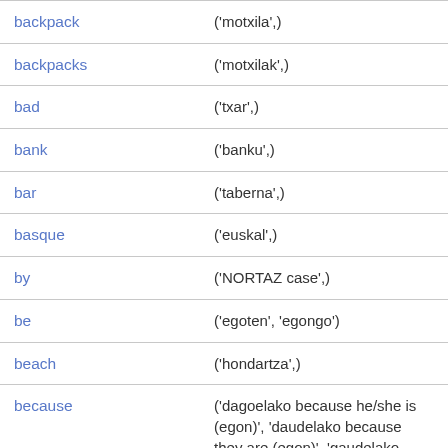| Term | Definition |
| --- | --- |
| backpack | ('motxila',) |
| backpacks | ('motxilak',) |
| bad | ('txar',) |
| bank | ('banku',) |
| bar | ('taberna',) |
| basque | ('euskal',) |
| by | ('NORTAZ case',) |
| be | ('egoten', 'egongo') |
| beach | ('hondartza',) |
| because | ('dagoelako because he/she is (egon)', 'daudelako because they are (egon)', 'gaudelako because... |